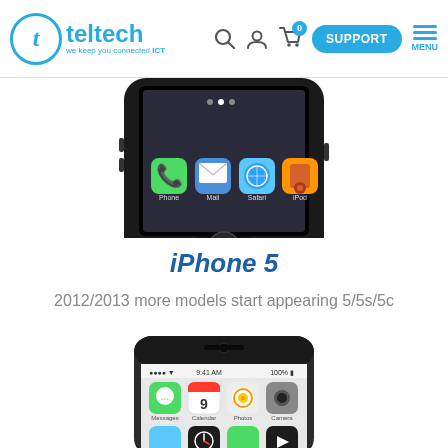teltech - we keep you connected ICT | SUPPORT MENU
[Figure (photo): Partial view of an iPhone 4 (black) showing the home screen with app icons (Phone, Mail, Safari, iPod) and the home button, cropped at the top]
iPhone 5
2012/2013 more models start appearing 5/5s/5c
[Figure (photo): Partial view of an iPhone 5 (black/slate) showing the top bezel with front camera, and the home screen with app icons (Messages, Calendar, Photos, Camera, Weather, Clock, Maps, Videos), cropped at the bottom]